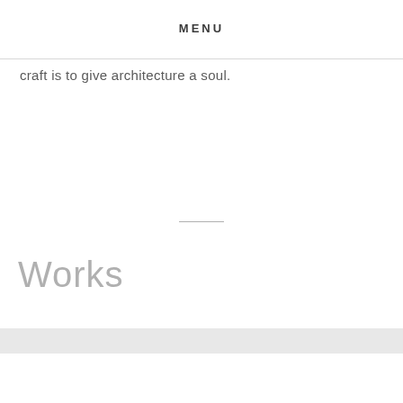MENU
craft is to give architecture a soul.
Works